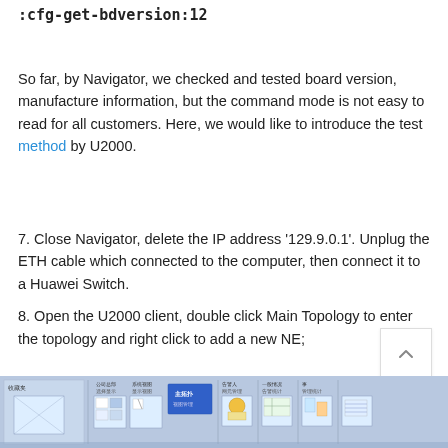:cfg-get-bdversion:12
So far, by Navigator, we checked and tested board version, manufacture information, but the command mode is not easy to read for all customers. Here, we would like to introduce the test method by U2000.
7. Close Navigator, delete the IP address '129.9.0.1'. Unplug the ETH cable which connected to the computer, then connect it to a Huawei Switch.
8. Open the U2000 client, double click Main Topology to enter the topology and right click to add a new NE;
[Figure (screenshot): Screenshot of a software toolbar/UI interface showing icons and menu items for a network management application (U2000). The toolbar contains various icons with labels, separated by dividers, on a blue-grey background.]